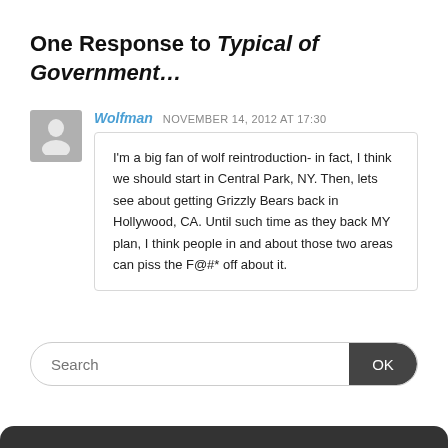One Response to Typical of Government...
Wolfman  NOVEMBER 14, 2012 AT 17:30
I'm a big fan of wolf reintroduction- in fact, I think we should start in Central Park, NY. Then, lets see about getting Grizzly Bears back in Hollywood, CA. Until such time as they back MY plan, I think people in and about those two areas can piss the F@#* off about it.
Search  OK